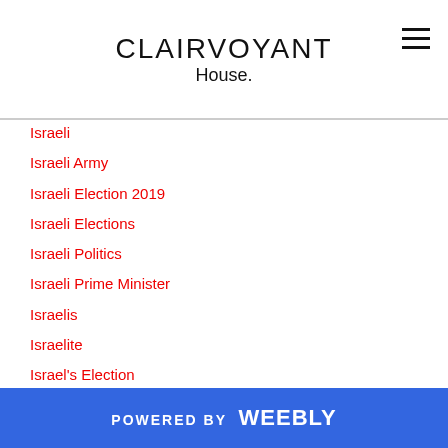CLAIRVOYANT
Israeli
Israeli Army
Israeli Election 2019
Israeli Elections
Israeli Politics
Israeli Prime Minister
Israelis
Israelite
Israel's Election
ISS
Ivanka Trump
Ivelina Staikova
Ivory
Jack Dorsey
Jacob Rothschild
POWERED BY weebly